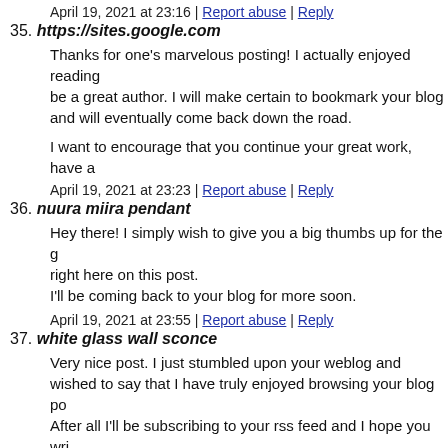April 19, 2021 at 23:16 | Report abuse | Reply
35. https://sites.google.com
Thanks for one's marvelous posting! I actually enjoyed reading, be a great author. I will make certain to bookmark your blog and will eventually come back down the road.
I want to encourage that you continue your great work, have a
April 19, 2021 at 23:23 | Report abuse | Reply
36. nuura miira pendant
Hey there! I simply wish to give you a big thumbs up for the g right here on this post.
I'll be coming back to your blog for more soon.
April 19, 2021 at 23:55 | Report abuse | Reply
37. white glass wall sconce
Very nice post. I just stumbled upon your weblog and wished to say that I have truly enjoyed browsing your blog pos. After all I'll be subscribing to your rss feed and I hope you wri
April 20, 2021 at 00:58 | Report abuse | Reply
38. strap suspension